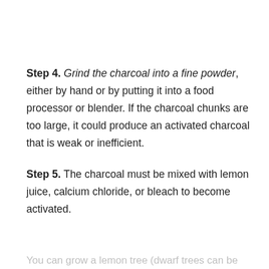Step 4. Grind the charcoal into a fine powder, either by hand or by putting it into a food processor or blender. If the charcoal chunks are too large, it could produce an activated charcoal that is weak or inefficient.
Step 5. The charcoal must be mixed with lemon juice, calcium chloride, or bleach to become activated.
You can grow a lemon tree (dwarf trees can be